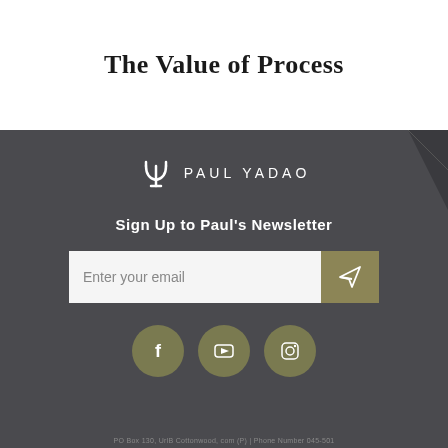The Value of Process
[Figure (logo): Paul Yadao logo with psi symbol and text PAUL YADAO]
Sign Up to Paul's Newsletter
[Figure (infographic): Email signup form with input field 'Enter your email' and a send button with paper airplane icon, plus social media icons for Facebook, YouTube, and Instagram]
PO Box 130, UrlB Cottonwood, com (P) | Phone Number 045-501